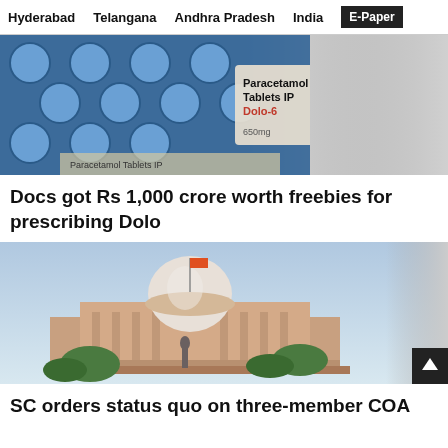Hyderabad   Telangana   Andhra Pradesh   India   E-Paper
[Figure (photo): Close-up photo of Paracetamol Tablets IP Dolo blister packs]
Docs got Rs 1,000 crore worth freebies for prescribing Dolo
[Figure (photo): Photo of the Supreme Court of India building with dome and statue]
SC orders status quo on three-member COA